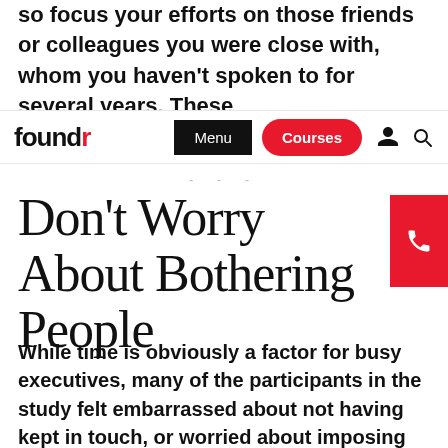so focus your efforts on those friends or colleagues you were close with, whom you haven't spoken to for several years. These
foundr | Menu | Courses
Don't Worry About Bothering People
While time is obviously a factor for busy executives, many of the participants in the study felt embarrassed about not having kept in touch, or worried about imposing or seeming opportunistic. But the researchers found that